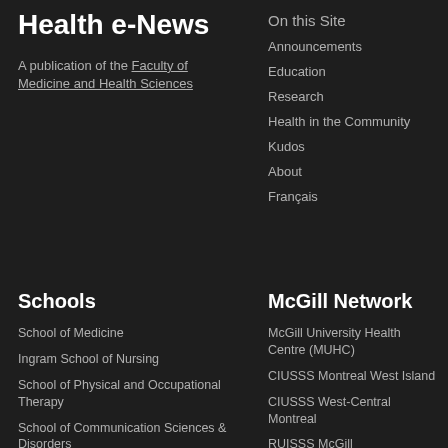Health e-News
A publication of the Faculty of Medicine and Health Sciences
On this Site
Announcements
Education
Research
Health in the Community
Kudos
About
Français
Schools
School of Medicine
Ingram School of Nursing
School of Physical and Occupational Therapy
School of Communication Sciences & Disorders
McGill Network
McGill University Health Centre (MUHC)
CIUSSS Montreal West Island
CIUSSS West-Central Montreal
RUISSS McGill